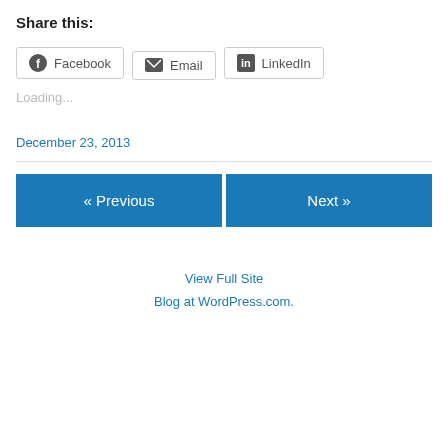Share this:
Facebook
Email
LinkedIn
Loading...
December 23, 2013
« Previous
Next »
View Full Site
Blog at WordPress.com.